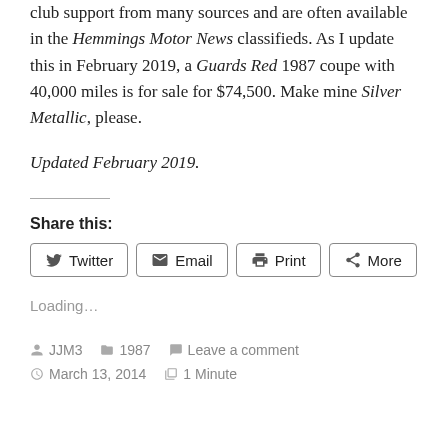club support from many sources and are often available in the Hemmings Motor News classifieds. As I update this in February 2019, a Guards Red 1987 coupe with 40,000 miles is for sale for $74,500. Make mine Silver Metallic, please.
Updated February 2019.
Share this:
Loading...
JJM3  1987  Leave a comment  March 13, 2014  1 Minute